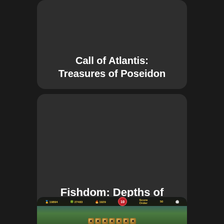[Figure (screenshot): Dark card with text label for game 'Call of Atlantis: Treasures of Poseidon']
Call of Atlantis: Treasures of Poseidon
[Figure (screenshot): Dark card with text label for game 'Fishdom: Depths of Time']
Fishdom: Depths of Time
[Figure (screenshot): Partial screenshot of a match-3 game interface showing HUD bar with resources and a game board with gold gem tiles]